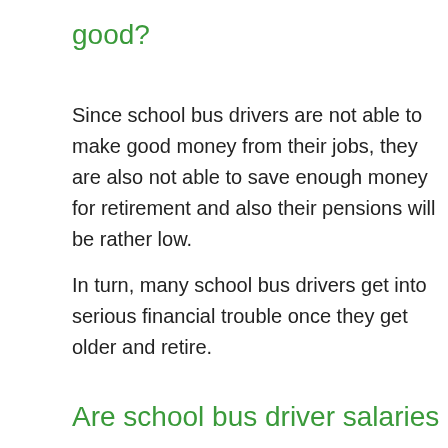good?
Since school bus drivers are not able to make good money from their jobs, they are also not able to save enough money for retirement and also their pensions will be rather low.
In turn, many school bus drivers get into serious financial trouble once they get older and retire.
Are school bus driver salaries